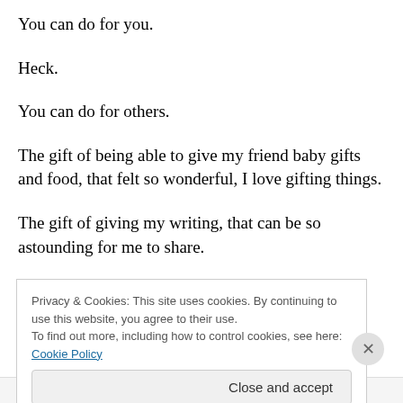You can do for you.
Heck.
You can do for others.
The gift of being able to give my friend baby gifts and food, that felt so wonderful, I love gifting things.
The gift of giving my writing, that can be so astounding for me to share.
So vulnerable.
Privacy & Cookies: This site uses cookies. By continuing to use this website, you agree to their use. To find out more, including how to control cookies, see here: Cookie Policy
Close and accept